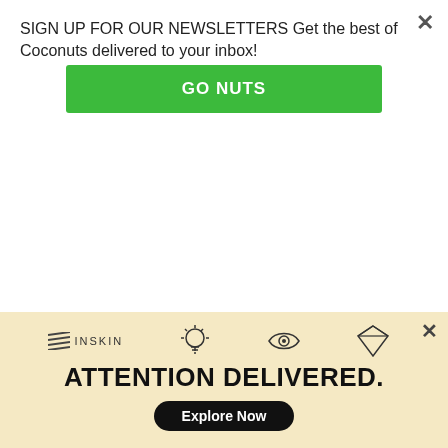SIGN UP FOR OUR NEWSLETTERS Get the best of Coconuts delivered to your inbox!
[Figure (other): Green 'GO NUTS' call-to-action button]
[Figure (photo): Two food photos side by side: 'Fish of the Day' Crudo on the left and Tomato and Burrata Salad on the right]
'Fish of the Day' Crudo and Tomato and Burrata Salad. Photos: Coconuts Bali
First off, we tried their Tomato and Burrata Salad (IDR75K/US$5.36), which also comes with slices of strawberry, garden herbs and sourdough. If you are planning to have the meal we're laying out in this review,
[Figure (other): Inskin advertisement banner with text 'ATTENTION DELIVERED.' and 'Explore Now' button]